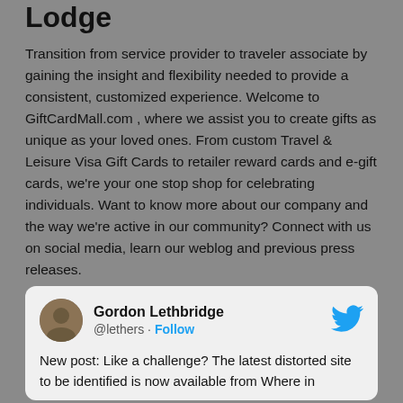Lodge
Transition from service provider to traveler associate by gaining the insight and flexibility needed to provide a consistent, customized experience. Welcome to GiftCardMall.com , where we assist you to create gifts as unique as your loved ones. From custom Travel & Leisure Visa Gift Cards to retailer reward cards and e-gift cards, we're your one stop shop for celebrating individuals. Want to know more about our company and the way we're active in our community? Connect with us on social media, learn our weblog and previous press releases.
[Figure (screenshot): Embedded tweet card from Gordon Lethbridge (@lethers) with a Follow button and Twitter bird icon. Tweet text begins: 'New post: Like a challenge? The latest distorted site to be identified is now available from Where in']